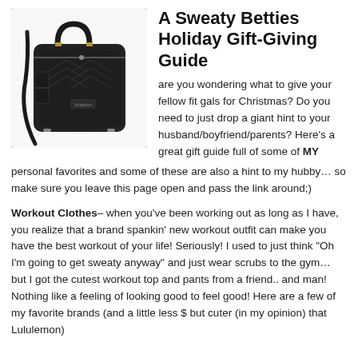[Figure (photo): Black gym/duffel bag with handles and shoulder strap on white background]
A Sweaty Betties Holiday Gift-Giving Guide
are you wondering what to give your fellow fit gals for Christmas? Do you need to just drop a giant hint to your husband/boyfriend/parents? Here's a great gift guide full of some of MY personal favorites and some of these are also a hint to my hubby… so make sure you leave this page open and pass the link around;)
Workout Clothes– when you've been working out as long as I have, you realize that a brand spankin' new workout outfit can make you have the best workout of your life! Seriously! I used to just think "Oh I'm going to get sweaty anyway" and just wear scrubs to the gym… but I got the cutest workout top and pants from a friend.. and man! Nothing like a feeling of looking good to feel good! Here are a few of my favorite brands (and a little less $ but cuter (in my opinion) that Lululemon)